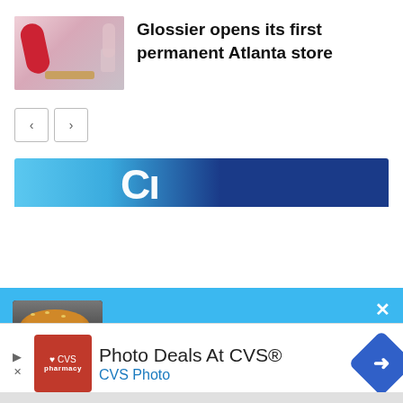[Figure (photo): Thumbnail photo of a Glossier store interior with red cylindrical display and pink/nude tones]
Glossier opens its first permanent Atlanta store
[Figure (screenshot): Navigation left/right arrow buttons]
[Figure (screenshot): Partial view of a blue and dark navy banner ad with large white CI letters]
[Figure (screenshot): Blue popup overlay with burger image and text 'Hungry for more?' with close X button]
Hungry for more?
[Figure (screenshot): Bottom ad strip: CVS Pharmacy logo, 'Photo Deals At CVS®', 'CVS Photo', navigation arrow icon]
Photo Deals At CVS®
CVS Photo